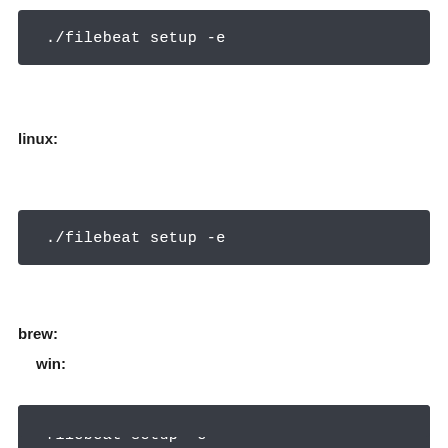[Figure (screenshot): Dark terminal code block showing: ./filebeat setup -e]
linux:
[Figure (screenshot): Dark terminal code block showing: ./filebeat setup -e]
brew:
[Figure (screenshot): Dark terminal code block showing: filebeat setup -e]
win:
[Figure (screenshot): Dark terminal code block showing: filebeat setup -e (partially visible)]